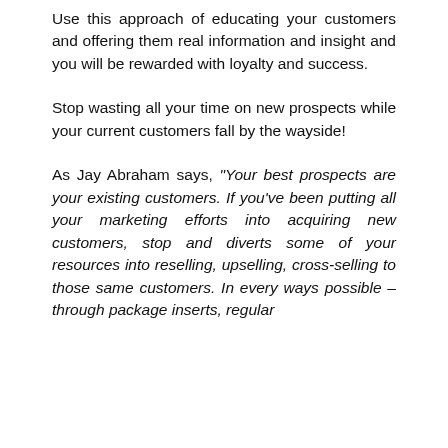Use this approach of educating your customers and offering them real information and insight and you will be rewarded with loyalty and success.
Stop wasting all your time on new prospects while your current customers fall by the wayside!
As Jay Abraham says, “Your best prospects are your existing customers. If you’ve been putting all your marketing efforts into acquiring new customers, stop and diverts some of your resources into reselling, upselling, cross-selling to those same customers. In every ways possible – through package inserts, regular